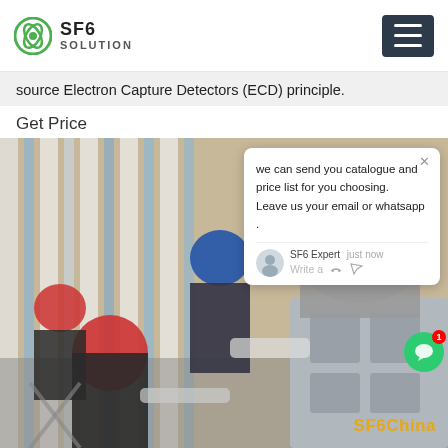SF6 SOLUTION
source Electron Capture Detectors (ECD) principle.
Get Price
[Figure (photo): Workers in hard hats (red and blue) working on industrial SF6 electrical equipment in a facility with striped walls. A chat popup overlay shows a message from SF6 Expert: 'we can send you catalogue and price list for you choosing. Leave us your email or whatsapp .' with a 'Write a' input area. An SF6China watermark appears at the bottom right.]